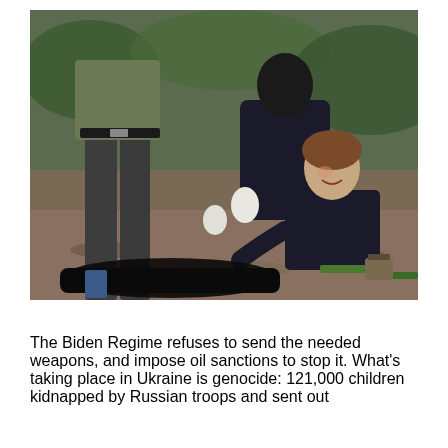[Figure (photo): A distressing scene outdoors showing a woman in a black puffer jacket kneeling on the ground crying, being held by a masked person in dark clothing. Another person in camouflage pants and black jeans stands nearby. A black body bag is visible on the ground.]
The Biden Regime refuses to send the needed weapons, and impose oil sanctions to stop it. What's taking place in Ukraine is genocide: 121,000 children kidnapped by Russian troops and sent out